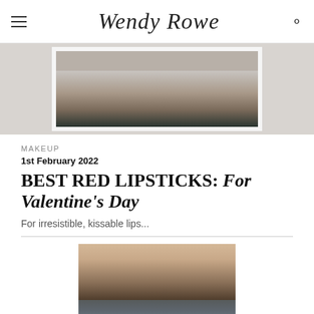Wendy Rowe
[Figure (photo): Partial photo of a person wearing a dark top, cropped at chest/neck area, shown at top of page behind site navigation]
MAKEUP
1st February 2022
BEST RED LIPSTICKS: For Valentine's Day
For irresistible, kissable lips...
[Figure (photo): Close-up portrait photo of a woman's eyes and brows, showing detailed eye makeup with dark lashes and light blue/green eyes]